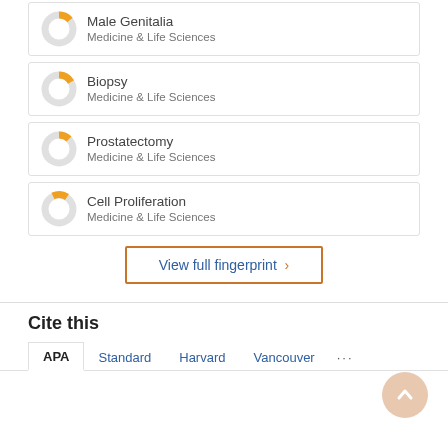Male Genitalia — Medicine & Life Sciences
Biopsy — Medicine & Life Sciences
Prostatectomy — Medicine & Life Sciences
Cell Proliferation — Medicine & Life Sciences
View full fingerprint
Cite this
APA | Standard | Harvard | Vancouver | ...